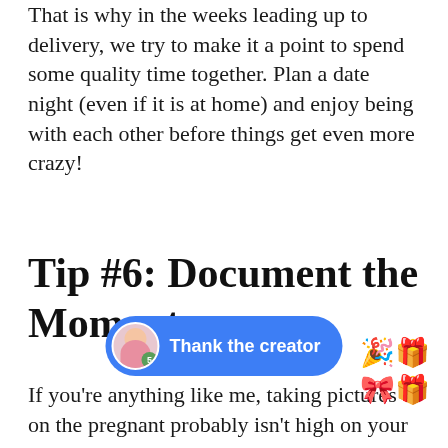That is why in the weeks leading up to delivery, we try to make it a point to spend some quality time together. Plan a date night (even if it is at home) and enjoy being with each other before things get even more crazy!
Tip #6: Document the Moments
If you're anything like me, taking pictures on the pregnant probably isn't high on your